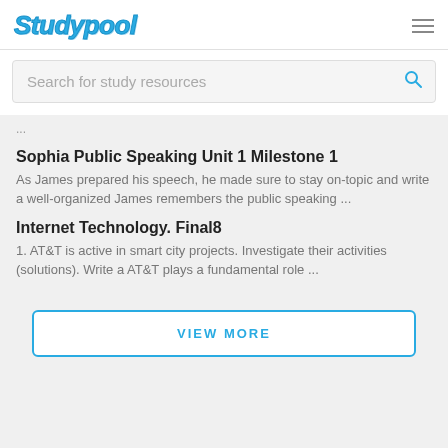Studypool
Search for study resources
...
Sophia Public Speaking Unit 1 Milestone 1
As James prepared his speech, he made sure to stay on-topic and write a well-organized James remembers the public speaking ...
Internet Technology. Final8
1. AT&T is active in smart city projects. Investigate their activities (solutions). Write a AT&T plays a fundamental role ...
VIEW MORE